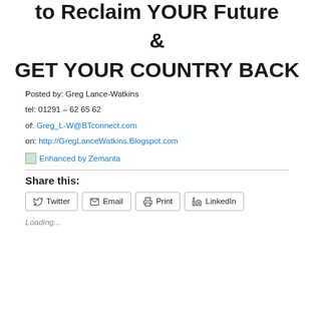to Reclaim YOUR Future & GET YOUR COUNTRY BACK
Posted by: Greg Lance-Watkins
tel: 01291 – 62 65 62
of: Greg_L-W@BTconnect.com
on: http://GregLanceWatkins.Blogspot.com
[Figure (illustration): Zemanta enhanced content badge with small icon and blue link text 'Enhanced by Zemanta']
Share this:
Twitter  Email  Print  LinkedIn
Loading...